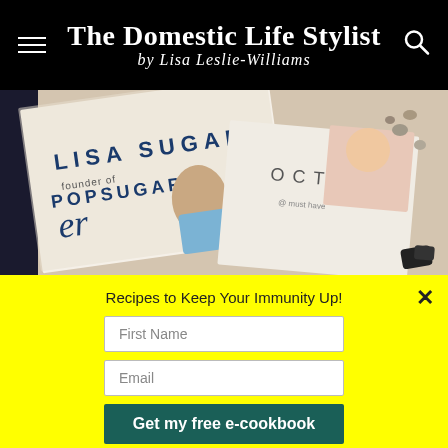The Domestic Life Stylist by Lisa Leslie-Williams
[Figure (photo): Photo of books/magazines laid flat including one labeled 'LISA SUGAR founder of POPSUGAR' and another labeled 'OCTOBER', with decorative stones on a sandy/cream surface]
Recipes to Keep Your Immunity Up!
First Name
Email
Get my free e-cookbook